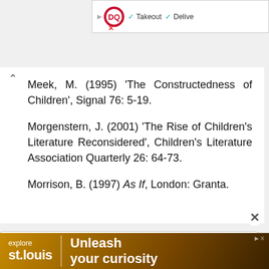[Figure (screenshot): Dairy Queen advertisement banner at top right showing DQ logo with Takeout and Delivery checkmarks]
Meek, M. (1995) ‘The Constructedness of Children’, Signal 76: 5-19.
Morgenstern, J. (2001) ‘The Rise of Children’s Literature Reconsidered’, Children’s Literature Association Quarterly 26: 64-73.
Morrison, B. (1997) As If, London: Granta.
[Figure (screenshot): Bottom advertisement for explore st.louis with text Unleash your curiosity, gears background image]